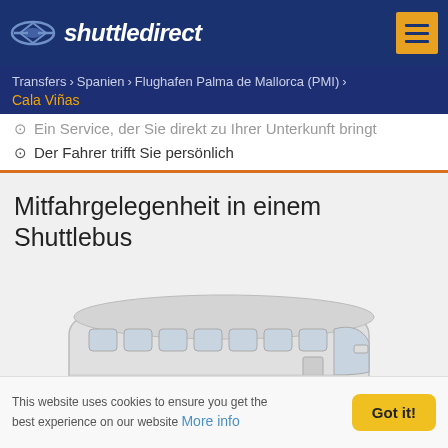shuttledirect
Transfers > Spanien > Flughafen Palma de Mallorca (PMI) > Cala Viñas
Ein Service, der Sie direkt zu Ihrer Unterkunft bringt
Der Fahrer trifft Sie persönlich
Mitfahrgelegenheit in einem Shuttlebus
[Figure (photo): A modern white shuttle bus / coach shown from the front-left side angle, in grayscale]
This website uses cookies to ensure you get the best experience on our website More info
Got it!